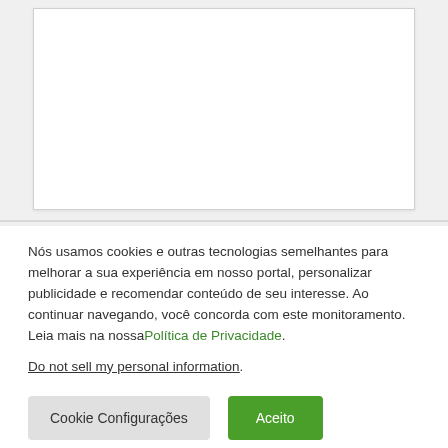[Figure (other): White rectangular content area box with light border on grey background]
Nós usamos cookies e outras tecnologias semelhantes para melhorar a sua experiência em nosso portal, personalizar publicidade e recomendar conteúdo de seu interesse. Ao continuar navegando, você concorda com este monitoramento. Leia mais na nossaPolítica de Privacidade.
Do not sell my personal information.
Cookie Configurações
Aceito